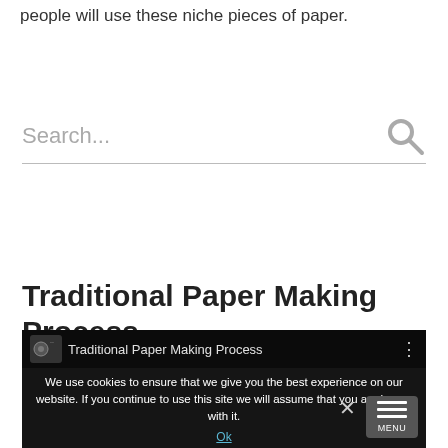people will use these niche pieces of paper.
[Figure (screenshot): Search bar with placeholder text 'Search...' and a search icon on the right]
Traditional Paper Making Process
[Figure (screenshot): Embedded video thumbnail for 'Traditional Paper Making Process' with a cookie consent overlay saying: 'We use cookies to ensure that we give you the best experience on our website. If you continue to use this site we will assume that you are happy with it.' with an Ok button, and a MENU button on the right.]